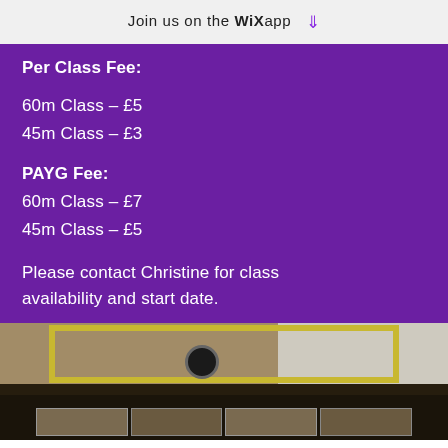Join us on the WiX app ⬇
Per Class Fee:
60m Class – £5
45m Class – £3
PAYG Fee:
60m Class – £7
45m Class – £5
Please contact Christine for class availability and start date.
[Figure (photo): Screenshot of an online video class session showing a tablet/laptop screen with multiple participant thumbnails at the bottom and a camera visible]